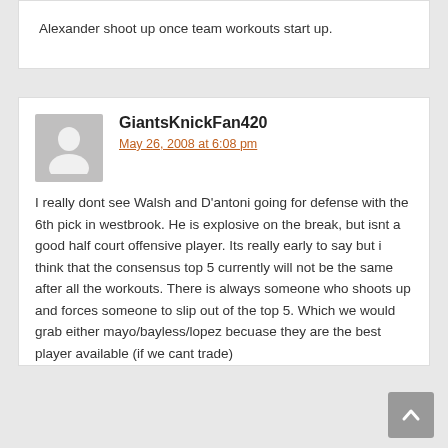Alexander shoot up once team workouts start up.
GiantsKnickFan420
May 26, 2008 at 6:08 pm
I really dont see Walsh and D'antoni going for defense with the 6th pick in westbrook. He is explosive on the break, but isnt a good half court offensive player. Its really early to say but i think that the consensus top 5 currently will not be the same after all the workouts. There is always someone who shoots up and forces someone to slip out of the top 5. Which we would grab either mayo/bayless/lopez becuase they are the best player available (if we cant trade)